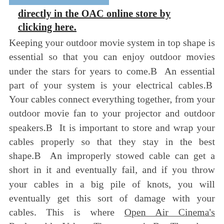directly in the OAC online store by clicking here.
Keeping your outdoor movie system in top shape is essential so that you can enjoy outdoor movies under the stars for years to come.  An essential part of your system is your electrical cables.  Your cables connect everything together, from your outdoor movie fan to your projector and outdoor speakers.  It is important to store and wrap your cables properly so that they stay in the best shape.  An improperly stowed cable can get a short in it and eventually fail, and if you throw your cables in a big pile of knots, you will eventually get this sort of damage with your cables. This is where Open Air Cinema's Recloseable Velcro Ties come in.  They keep your cables organized and neatly wrapped.  Not only will this ensure that your system lasts for a long time, it will also save you frustration and time as you set up your outdoor movie event.  The last